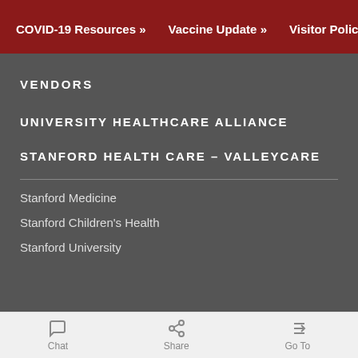COVID-19 Resources »   Vaccine Update »   Visitor Policy »
VENDORS
UNIVERSITY HEALTHCARE ALLIANCE
STANFORD HEALTH CARE – VALLEYCARE
Stanford Medicine
Stanford Children's Health
Stanford University
Chat   Share   Go To